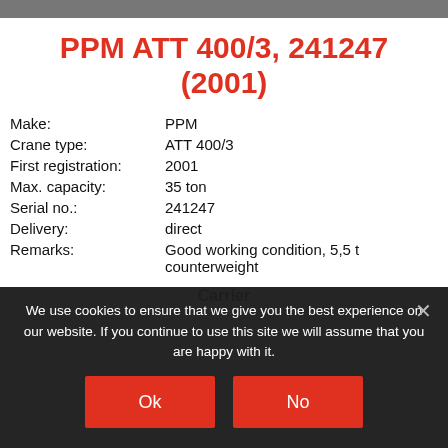PPM ATT 400/3, 241247 (2001)
| Make: | PPM |
| Crane type: | ATT 400/3 |
| First registration: | 2001 |
| Max. capacity: | 35 ton |
| Serial no.: | 241247 |
| Delivery: | direct |
| Remarks: | Good working condition, 5,5 t counterweight |
Carrier
We use cookies to ensure that we give you the best experience on our website. If you continue to use this site we will assume that you are happy with it.